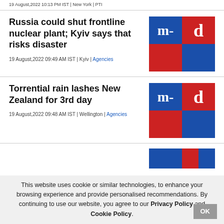19 August,2022 10:13 PM IST | New York | PTI
Russia could shut frontline nuclear plant; Kyiv says that risks disaster
[Figure (logo): m-d logo with blue and red quadrants, white letters m and d]
19 August,2022 09:49 AM IST | Kyiv | Agencies
Torrential rain lashes New Zealand for 3rd day
[Figure (logo): m-d logo with blue and red quadrants, white letters m and d]
19 August,2022 09:48 AM IST | Wellington | Agencies
[Figure (logo): Partial m-d logo visible at bottom of page]
This website uses cookie or similar technologies, to enhance your browsing experience and provide personalised recommendations. By continuing to use our website, you agree to our Privacy Policy and Cookie Policy.